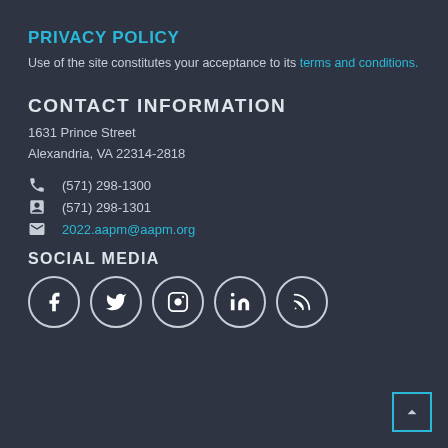PRIVACY POLICY
Use of the site constitutes your acceptance to its terms and conditions.
CONTACT INFORMATION
1631 Prince Street
Alexandria, VA 22314-2818
(571) 298-1300
(571) 298-1301
2022.aapm@aapm.org
SOCIAL MEDIA
[Figure (other): Social media icons in circles: Facebook, Twitter, Instagram, LinkedIn, RSS]
[Figure (other): Back to top button with upward arrow, cyan border]